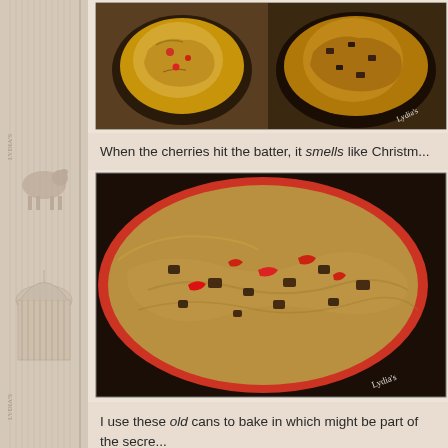[Figure (photo): Two cast iron skillets with baked goods, side by side. Left shows a lighter colored baked item, right shows a darker chocolate-containing baked item. Lydia's watermark visible.]
When the cherries hit the batter, it smells like Christm...
[Figure (photo): Close-up overhead view of a batter mixture in a red bowl with visible cherries (red pieces) and chocolate chips mixed throughout. Lydia's watermark visible.]
I use these old cans to bake in which might be part of the secre...